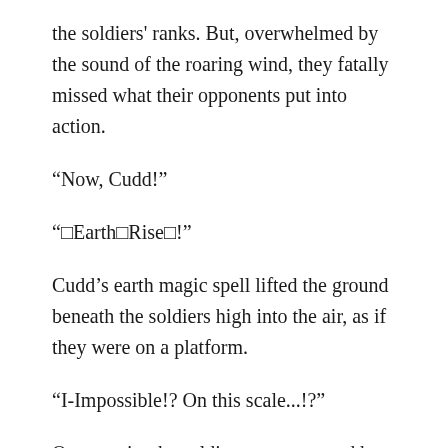the soldiers' ranks. But, overwhelmed by the sound of the roaring wind, they fatally missed what their opponents put into action.
“Now, Cudd!”
“□Earth□Rise□!”
Cudd’s earth magic spell lifted the ground beneath the soldiers high into the air, as if they were on a platform.
“I-Impossible!? On this scale...!?”
Once again, the soldiers were stunned by the sudden use of an intermediate level magic spell, so convinced they were by their opponent’s